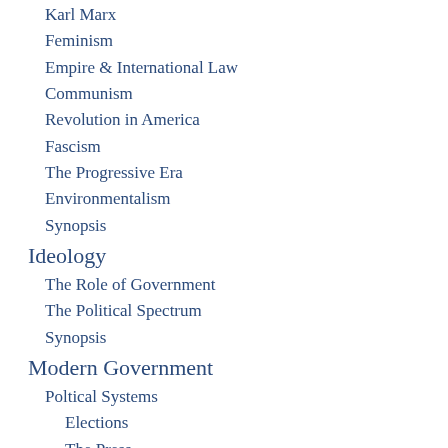Karl Marx
Feminism
Empire & International Law
Communism
Revolution in America
Fascism
The Progressive Era
Environmentalism
Synopsis
Ideology
The Role of Government
The Political Spectrum
Synopsis
Modern Government
Poltical Systems
Elections
The Press
United States
United Kingdom